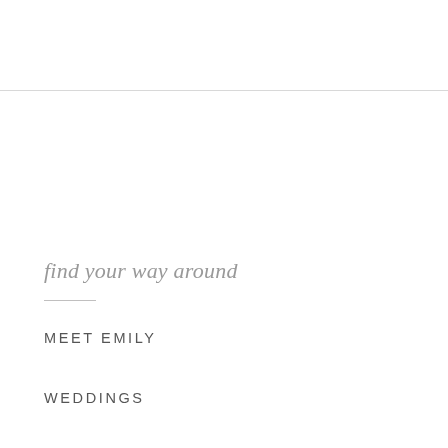find your way around
MEET EMILY
WEDDINGS